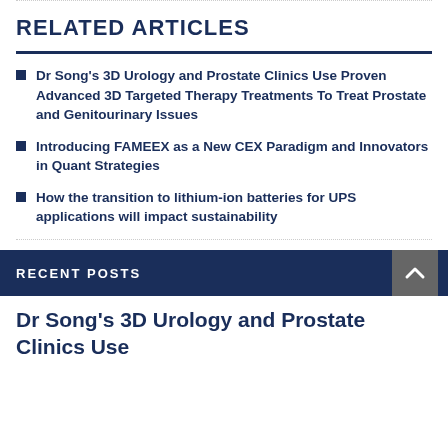RELATED ARTICLES
Dr Song's 3D Urology and Prostate Clinics Use Proven Advanced 3D Targeted Therapy Treatments To Treat Prostate and Genitourinary Issues
Introducing FAMEEX as a New CEX Paradigm and Innovators in Quant Strategies
How the transition to lithium-ion batteries for UPS applications will impact sustainability
RECENT POSTS
Dr Song's 3D Urology and Prostate Clinics Use